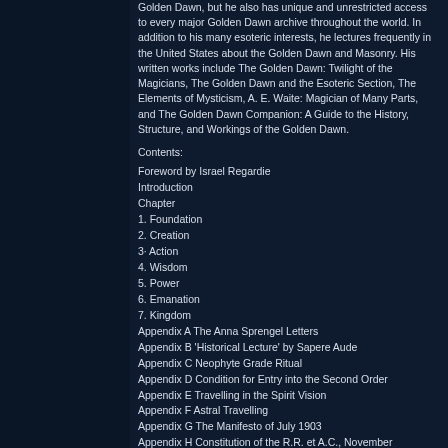Golden Dawn, but he also has unique and unrestricted access to every major Golden Dawn archive throughout the world. In addition to his many esoteric interests, he lectures frequently in the United States about the Golden Dawn and Masonry. His written works include The Golden Dawn: Twilight of the Magicians, The Golden Dawn and the Esoteric Section, The Elements of Mysticism, A. E. Waite: Magician of Many Parts, and The Golden Dawn Companion: A Guide to the History, Structure, and Workings of the Golden Dawn.
Contents:
Foreword by Israel Regardie
Introduction
Chapter
1. Foundation
2. Creation
3. Action
4. Wisdom
5. Power
6. Emanation
7. Kingdom
Appendix A The Anna Sprengel Letters
Appendix B 'Historical Lecture' by Sapere Aude
Appendix C Neophyte Grade Ritual
Appendix D Condition for Entry into the Second Order
Appendix E Travelling in the Spirit Vision
Appendix F Astral Travelling
Appendix G The Manifesto of July 1903
Appendix H Constitution of the R.R. et A.C., November